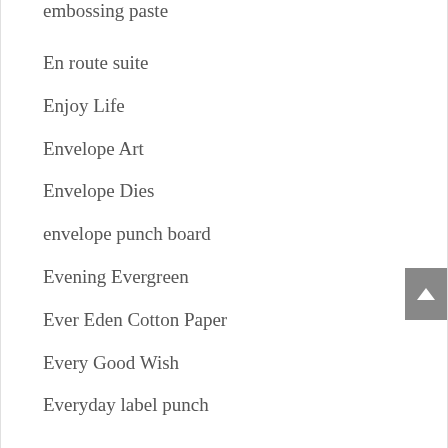embossing paste
En route suite
Enjoy Life
Envelope Art
Envelope Dies
envelope punch board
Evening Evergreen
Ever Eden Cotton Paper
Every Good Wish
Everyday label punch